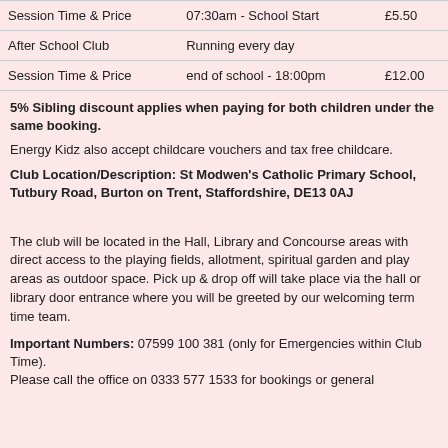| Session Time & Price | 07:30am - School Start | £5.50 |
| After School Club | Running every day |  |
| Session Time & Price | end of school - 18:00pm | £12.00 |
5% Sibling discount applies when paying for both children under the same booking.
Energy Kidz also accept childcare vouchers and tax free childcare.
Club Location/Description: St Modwen's Catholic Primary School, Tutbury Road, Burton on Trent, Staffordshire, DE13 0AJ
The club will be located in the Hall, Library and Concourse areas with direct access to the playing fields, allotment, spiritual garden and play areas as outdoor space. Pick up & drop off will take place via the hall or library door entrance where you will be greeted by our welcoming term time team.
Important Numbers: 07599 100 381 (only for Emergencies within Club Time).
Please call the office on 0333 577 1533 for bookings or general